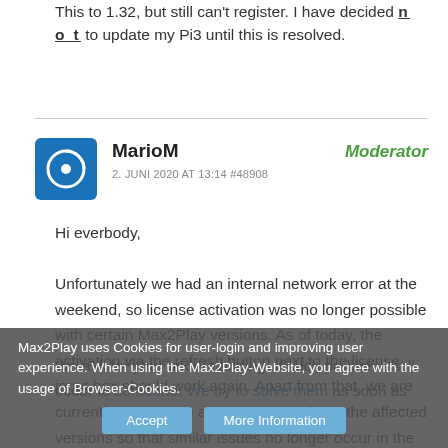This to 1.32, but still can't register. I have decided not to update my Pi3 until this is resolved.
MarioM — Moderator
2. JUNI 2020 AT 13:14 #48908
Hi everbody,
Unfortunately we had an internal network error at the weekend, so license activation was no longer possible with certain Max2Play versions. As of today, the activation via the refresh button next to the license input box should work again. Apart from that, we are currently working on a plugin that updates the affected versions so that similar issues no longer occur in the future.
We ask for your understanding. If such problems still occur to someone. We try to solve them as soon as
Max2Play uses Cookies for user-login and improving user experience. When using the Max2Play-Website, you agree with the usage of Browser-Cookies.